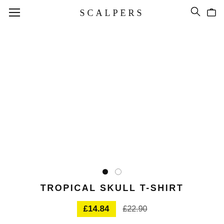SCALPERS
[Figure (other): Product image area - white/blank product photo area for Tropical Skull T-Shirt with carousel navigation dots]
TROPICAL SKULL T-SHIRT
£14.84  £22.90